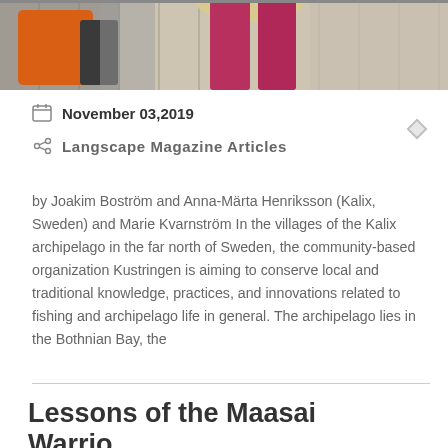[Figure (photo): Cropped bottom portion of a photo showing a person with an orange bag/backpack on the left, another person in pink/magenta pants in the center, standing on a wooden deck or dock.]
November 03,2019
Langscape Magazine Articles
by Joakim Boström and Anna-Märta Henriksson (Kalix, Sweden) and Marie Kvarnström In the villages of the Kalix archipelago in the far north of Sweden, the community-based organization Kustringen is aiming to conserve local and traditional knowledge, practices, and innovations related to fishing and archipelago life in general. The archipelago lies in the Bothnian Bay, the
Lessons of the Maasai Warrio...